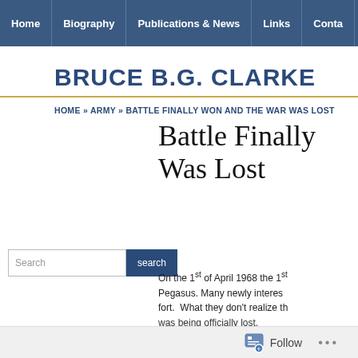Home | Biography | Publications & News | Links | Conta
BRUCE B.G. CLARKE
HOME » ARMY » BATTLE FINALLY WON AND THE WAR WAS LOST
Battle Finally Won and the War Was Lost
On the 1st of April 1968 the 1st ... Pegasus. Many newly interes... fort. What they don't realize th... was being officially lost.
Follow ...